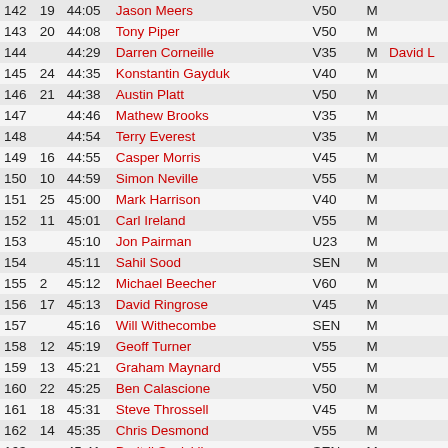| Pos | Cat Pos | Time | Name | Cat | Gen | Club |
| --- | --- | --- | --- | --- | --- | --- |
| 142 | 19 | 44:05 | Jason Meers | V50 | M |  |
| 143 | 20 | 44:08 | Tony Piper | V50 | M |  |
| 144 |  | 44:29 | Darren Corneille | V35 | M | David L |
| 145 | 24 | 44:35 | Konstantin Gayduk | V40 | M |  |
| 146 | 21 | 44:38 | Austin Platt | V50 | M |  |
| 147 |  | 44:46 | Mathew Brooks | V35 | M |  |
| 148 |  | 44:54 | Terry Everest | V35 | M |  |
| 149 | 16 | 44:55 | Casper Morris | V45 | M |  |
| 150 | 10 | 44:59 | Simon Neville | V55 | M |  |
| 151 | 25 | 45:00 | Mark Harrison | V40 | M |  |
| 152 | 11 | 45:01 | Carl Ireland | V55 | M |  |
| 153 |  | 45:10 | Jon Pairman | U23 | M |  |
| 154 |  | 45:11 | Sahil Sood | SEN | M |  |
| 155 | 2 | 45:12 | Michael Beecher | V60 | M |  |
| 156 | 17 | 45:13 | David Ringrose | V45 | M |  |
| 157 |  | 45:16 | Will Withecombe | SEN | M |  |
| 158 | 12 | 45:19 | Geoff Turner | V55 | M |  |
| 159 | 13 | 45:21 | Graham Maynard | V55 | M |  |
| 160 | 22 | 45:25 | Ben Calascione | V50 | M |  |
| 161 | 18 | 45:31 | Steve Throssell | V45 | M |  |
| 162 | 14 | 45:35 | Chris Desmond | V55 | M |  |
| 163 |  | 45:41 | Dmitrij Savickij | SEN | M |  |
| 164 | 10 | 45:43 | George Harris | V45 | M |  |